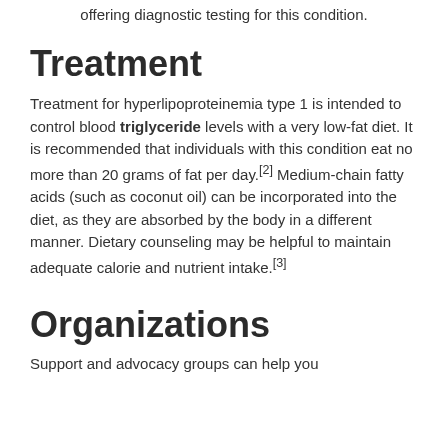offering diagnostic testing for this condition.
Treatment
Treatment for hyperlipoproteinemia type 1 is intended to control blood triglyceride levels with a very low-fat diet. It is recommended that individuals with this condition eat no more than 20 grams of fat per day.[2] Medium-chain fatty acids (such as coconut oil) can be incorporated into the diet, as they are absorbed by the body in a different manner. Dietary counseling may be helpful to maintain adequate calorie and nutrient intake.[3]
Organizations
Support and advocacy groups can help you